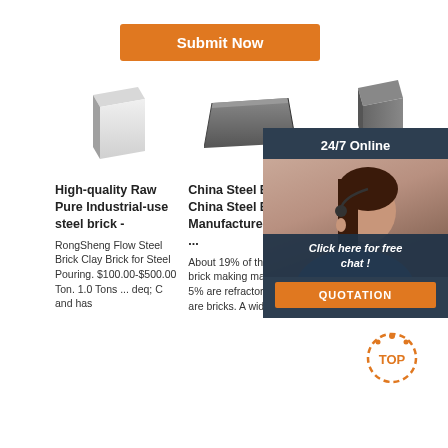Submit Now
[Figure (photo): White raw steel brick product photo]
[Figure (photo): Gray China steel brick product photo]
[Figure (photo): Dark gray wedge refractory brick product photo]
[Figure (photo): 24/7 Online customer service chat overlay with woman wearing headset]
High-quality Raw Pure Industrial-use steel brick -
China Steel Bricks, China Steel Bricks Manufacturers and ...
Light Bricks, Rong... Refra...
RongSheng Flow Steel Brick Clay Brick for Steel Pouring. $100.00-$500.00 Ton. 1.0 Tons ... deq; C and has
About 19% of these are brick making machinery, 5% are refractory, and 1% are bricks. A wide
2021-7... 7u2002·u2002Light Clay Bricks Application 1.Lightweight clay insulation bricks can be used as